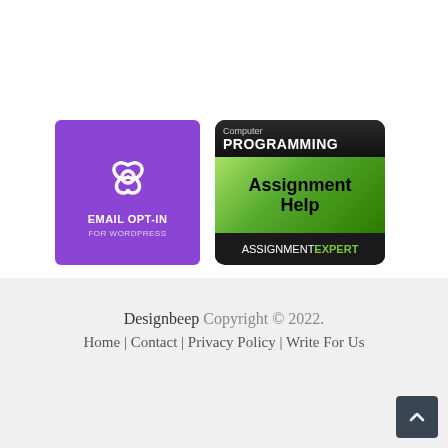[Figure (logo): Purple square badge with circular knot icon and text EMAIL OPT-IN FOR WORDPRESS]
[Figure (logo): Dark rounded badge for Computer PROGRAMMING Assignment Help by ASSIGNMENTEXPERT with green gradient section]
Designbeep Copyright © 2022. Home | Contact | Privacy Policy | Write For Us